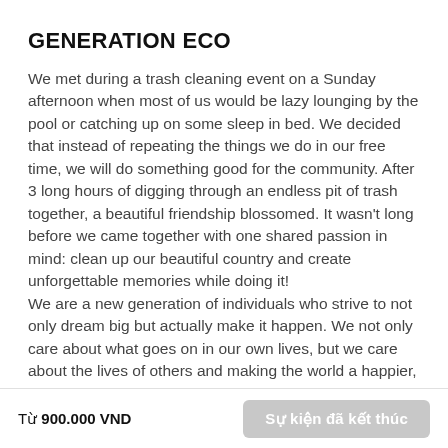GENERATION ECO
We met during a trash cleaning event on a Sunday afternoon when most of us would be lazy lounging by the pool or catching up on some sleep in bed. We decided that instead of repeating the things we do in our free time, we will do something good for the community. After 3 long hours of digging through an endless pit of trash together, a beautiful friendship blossomed. It wasn't long before we came together with one shared passion in mind: clean up our beautiful country and create unforgettable memories while doing it!
We are a new generation of individuals who strive to not only dream big but actually make it happen. We not only care about what goes on in our own lives, but we care about the lives of others and making the world a happier, cleaner and more fun place to live in. We are looking for those who share the same compassion and spirit as we do, so if you want to make a change, making some new amazing friends and
Từ 900.000 VND   Sự kiện đã kết thúc